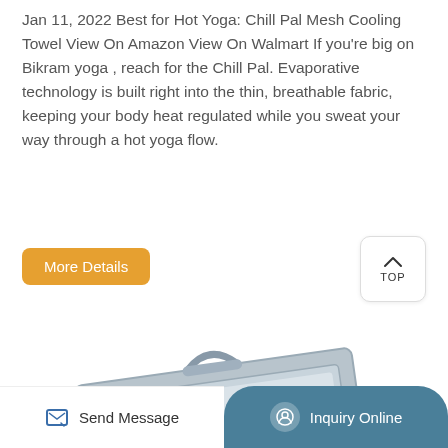Jan 11, 2022 Best for Hot Yoga: Chill Pal Mesh Cooling Towel View On Amazon View On Walmart If you're big on Bikram yoga , reach for the Chill Pal. Evaporative technology is built right into the thin, breathable fabric, keeping your body heat regulated while you sweat your way through a hot yoga flow.
More Details
TOP
[Figure (photo): Product image of a rectangular tray or board with a gray frame and handle, shown at an angle]
Send Message
Inquiry Online